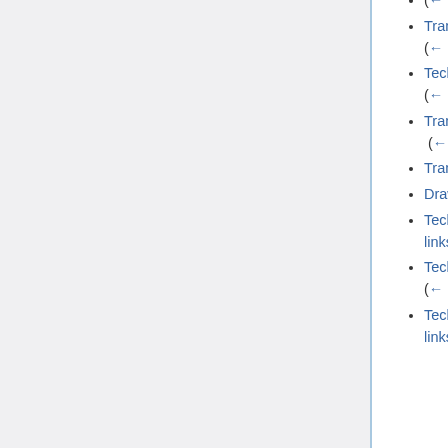(← links)
Translations:TechDraw VerticalExtentDimension/16/fr (← links)
TechDraw HorizontalExtentDimension/fr (← links)
Translations:TechDraw HorizontalExtentDimension/16/fr (← links)
Translations:TechDraw ActiveView/17/fr (← links)
Drawing/fr (← links)
TechDraw PageDefault/fr (← links)
TechDraw PageTemplate/fr (← links)
TechDraw RedrawPage/fr (← links)